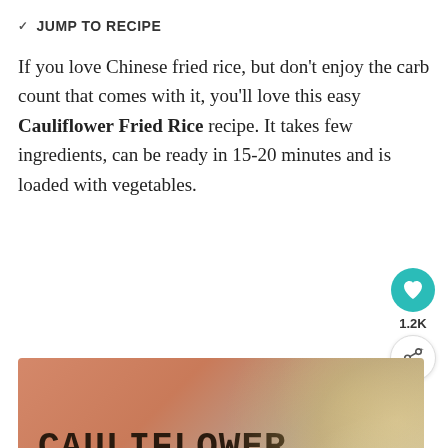JUMP TO RECIPE
If you love Chinese fried rice, but don't enjoy the carb count that comes with it, you'll love this easy Cauliflower Fried Rice recipe. It takes few ingredients, can be ready in 15-20 minutes and is loaded with vegetables.
[Figure (photo): Recipe hero image with text overlay reading 'CAULIFLOWER FRIED RICE' on a warm terracotta/salmon background with bokeh gold and white tones on the right side]